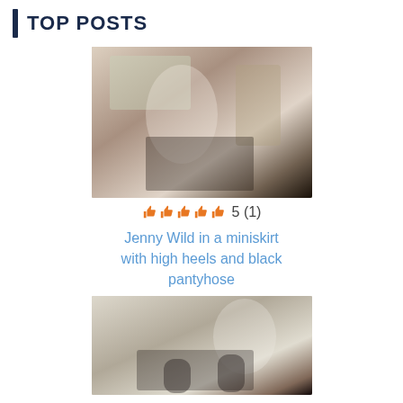TOP POSTS
[Figure (photo): Photo of a woman in a white top, miniskirt, and black pantyhose posing near a wall with artwork and a chair in the background]
👍👍👍👍👍 5 (1)
Jenny Wild in a miniskirt with high heels and black pantyhose
[Figure (photo): Photo of a woman with long hair in black pantyhose and heels posing on a bed/couch]